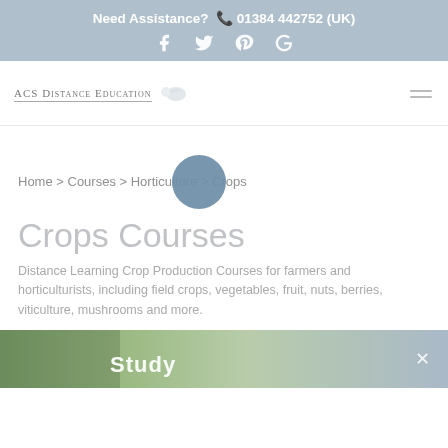Need Assistance? 📞 01384 442752 (UK)
[Figure (logo): ACS Distance Education logo with small illustrated graphic]
Home > Courses > Horticulture > Crops
Crops Courses
Distance Learning Crop Production Courses for farmers and horticulturists, including field crops, vegetables, fruit, nuts, berries, viticulture, mushrooms and more.
[Figure (photo): Partial view of a 'Study' promotional banner with green foliage background and close button]